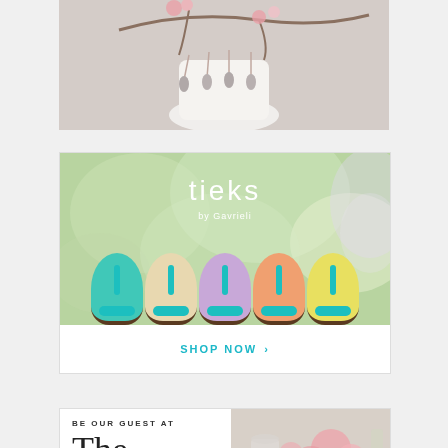[Figure (photo): Jewelry photo showing floral earrings with pink flowers and teardrop pendants hanging near a white vase with floral branches]
[Figure (photo): Tieks by Gavrieli advertisement showing five colorful ballet flat shoes (teal, cream, lavender, peach, yellow) in a row viewed from behind, on a soft green bokeh background, with the Tieks by Gavrieli logo in white text at top]
SHOP NOW >
[Figure (photo): Bottom teaser showing 'BE OUR GUEST AT' text with large serif 'The' and a photo of flowers and stemware on the right]
BE OUR GUEST AT The